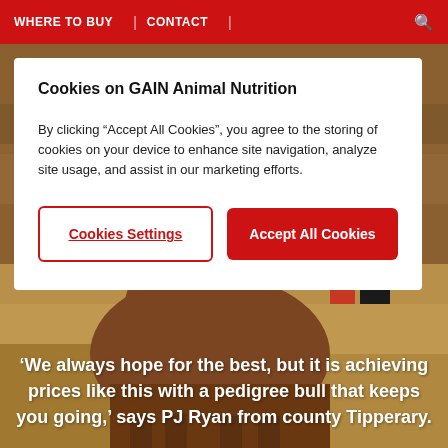WHERE TO BUY | CONTACT
Cookies on GAIN Animal Nutrition
By clicking “Accept All Cookies”, you agree to the storing of cookies on your device to enhance site navigation, analyze site usage, and assist in our marketing efforts.
Cookies Settings
Accept All Cookies
[Figure (photo): Background photo of a brown cattle/bull at a livestock show or market, standing in a dirt arena with people visible in the background.]
‘We always hope for the best, but it is achieving prices like this with a pedigree bull that keeps you going,’ says PJ Ryan from county Tipperary.